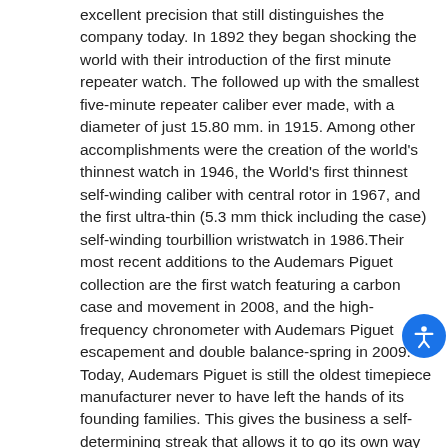excellent precision that still distinguishes the company today. In 1892 they began shocking the world with their introduction of the first minute repeater watch. The followed up with the smallest five-minute repeater caliber ever made, with a diameter of just 15.80 mm. in 1915. Among other accomplishments were the creation of the world's thinnest watch in 1946, the World's first thinnest self-winding caliber with central rotor in 1967, and the first ultra-thin (5.3 mm thick including the case) self-winding tourbillion wristwatch in 1986.Their most recent additions to the Audemars Piguet collection are the first watch featuring a carbon case and movement in 2008, and the high-frequency chronometer with Audemars Piguet escapement and double balance-spring in 2009. Today, Audemars Piguet is still the oldest timepiece manufacturer never to have left the hands of its founding families. This gives the business a self-determining streak that allows it to go its own way and follow its own distinctive vision. Audemars Piguet has a number of ambassadors that represent their same value of creativity and independence. Some of them include; Belen Mozo, Bud Cauley, Lebron James, Lee Westwood, Leo Messi, and Nick Faldo. Audemars Piguet is also partnered with Art Basel, Bolshoi, and Zona Maco.
Call us for pricing and availability on Audemars Piguet 41mm